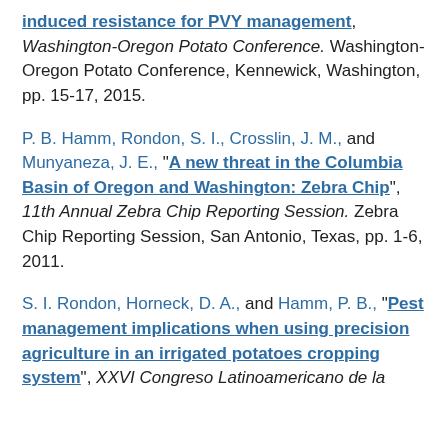induced resistance for PVY management", Washington-Oregon Potato Conference. Washington-Oregon Potato Conference, Kennewick, Washington, pp. 15-17, 2015.
P. B. Hamm, Rondon, S. I., Crosslin, J. M., and Munyaneza, J. E., "A new threat in the Columbia Basin of Oregon and Washington: Zebra Chip", 11th Annual Zebra Chip Reporting Session. Zebra Chip Reporting Session, San Antonio, Texas, pp. 1-6, 2011.
S. I. Rondon, Horneck, D. A., and Hamm, P. B., "Pest management implications when using precision agriculture in an irrigated potatoes cropping system", XXVI Congreso Latinoamericano de la